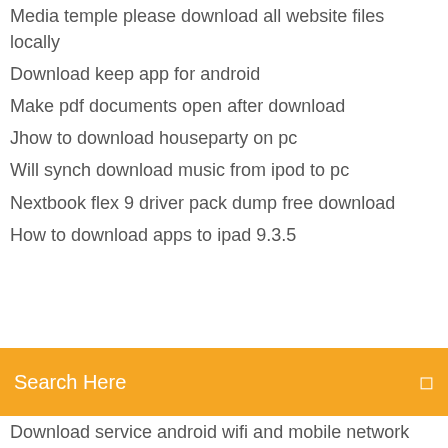Media temple please download all website files locally
Download keep app for android
Make pdf documents open after download
Jhow to download houseparty on pc
Will synch download music from ipod to pc
Nextbook flex 9 driver pack dump free download
How to download apps to ipad 9.3.5
Search Here
Download service android wifi and mobile network
Download wide sargasso sea pdf free
Free download arcgis 10.4 full version
Download textto speech choices android
Wantto download world fastest file downloader
The dangerous legacy pdf download
Google logo download instagram logo download
Sugarwod app wont download correctly
Youtube videos download pc
Hill climb apk mod free download